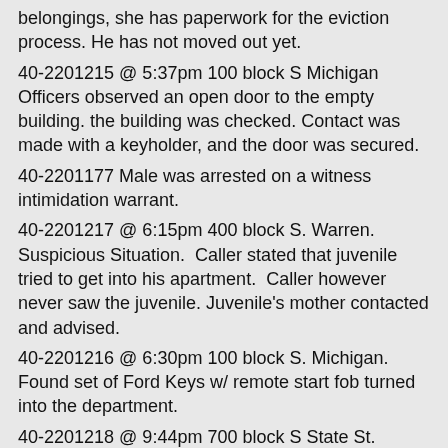belongings, she has paperwork for the eviction process. He has not moved out yet.
40-2201215 @ 5:37pm 100 block S Michigan Officers observed an open door to the empty building. the building was checked. Contact was made with a keyholder, and the door was secured.
40-2201177 Male was arrested on a witness intimidation warrant.
40-2201217 @ 6:15pm 400 block S. Warren.  Suspicious Situation.  Caller stated that juvenile tried to get into his apartment.  Caller however never saw the juvenile.  Juvenile's mother contacted and advised.
40-2201216 @ 6:30pm 100 block S. Michigan.  Found set of Ford Keys w/ remote start fob turned into the department.
40-2201218 @ 9:44pm 700 block S State St.  Suspicious Person.  Homeless male was begging customers for money to buy beer.  He was located at State and